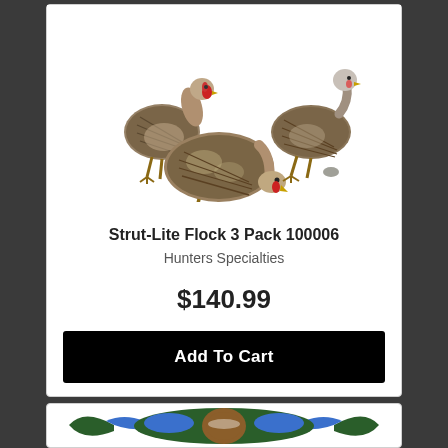[Figure (photo): Three turkey decoy figures arranged in a group on white background]
Strut-Lite Flock 3 Pack 100006
Hunters Specialties
$140.99
Add To Cart
[Figure (photo): Duck decoy with blue and brown coloring, wings spread, seen from above]